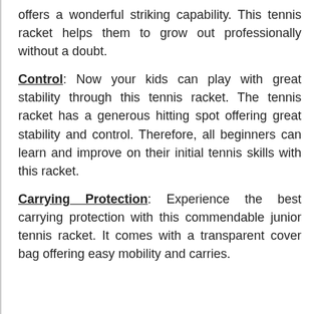offers a wonderful striking capability. This tennis racket helps them to grow out professionally without a doubt.
Control: Now your kids can play with great stability through this tennis racket. The tennis racket has a generous hitting spot offering great stability and control. Therefore, all beginners can learn and improve on their initial tennis skills with this racket.
Carrying Protection: Experience the best carrying protection with this commendable junior tennis racket. It comes with a transparent cover bag offering easy mobility and carries.